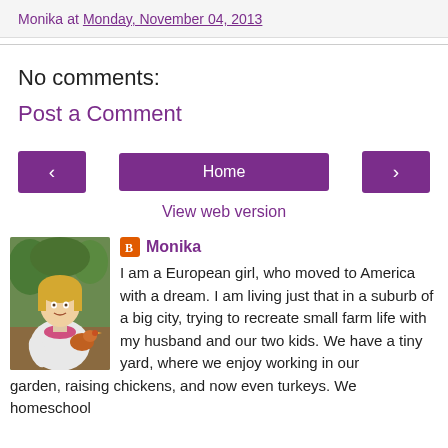Monika at Monday, November 04, 2013
No comments:
Post a Comment
< Home >
View web version
Monika
[Figure (photo): Profile photo of Monika, a blonde woman holding a chicken outdoors]
I am a European girl, who moved to America with a dream. I am living just that in a suburb of a big city, trying to recreate small farm life with my husband and our two kids. We have a tiny yard, where we enjoy working in our garden, raising chickens, and now even turkeys. We homeschool